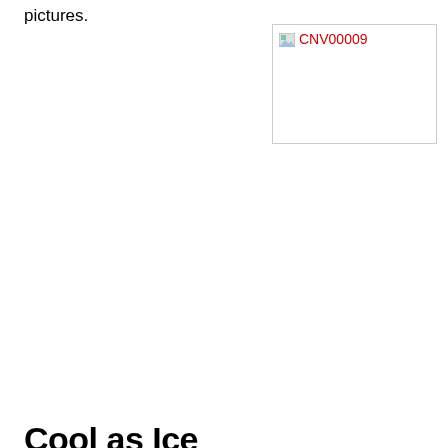pictures.
[Figure (photo): Broken image placeholder labeled CNV00009 in red text]
Cool as Ice
Privacy & Cookies: This site uses cookies. By continuing to use this website, you agree to their use.
To find out more, including how to control cookies, see here: Cookie Policy
Close and accept